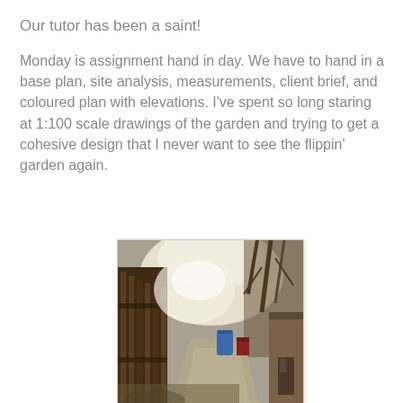Our tutor has been a saint!
Monday is assignment hand in day. We have to hand in a base plan, site analysis, measurements, client brief, and coloured plan with elevations. I've spent so long staring at 1:100 scale drawings of the garden and trying to get a cohesive design that I never want to see the flippin' garden again.
[Figure (photo): Photograph of a garden pathway with a wooden fence/gate on the left, a blue barrel visible in the background, a small red structure in the middle ground, a shed on the right, and bare trees in the background under bright sky.]